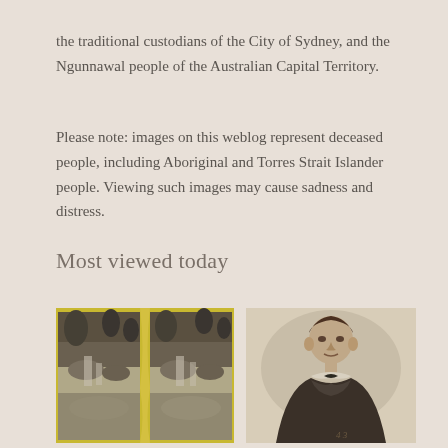the traditional custodians of the City of Sydney, and the Ngunnawal people of the Australian Capital Territory.
Please note: images on this weblog represent deceased people, including Aboriginal and Torres Strait Islander people. Viewing such images may cause sadness and distress.
Most viewed today
[Figure (photo): Stereoscopic photograph of a waterfall in a forested landscape, mounted on a yellow card]
[Figure (photo): Portrait photograph of a man in dark clothing with a bow tie, with handwritten annotation '4 3' at the bottom]